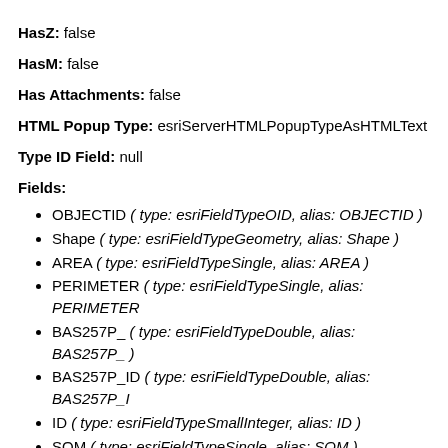HasZ: false
HasM: false
Has Attachments: false
HTML Popup Type: esriServerHTMLPopupTypeAsHTMLText
Type ID Field: null
Fields:
OBJECTID ( type: esriFieldTypeOID, alias: OBJECTID )
Shape ( type: esriFieldTypeGeometry, alias: Shape )
AREA ( type: esriFieldTypeSingle, alias: AREA )
PERIMETER ( type: esriFieldTypeSingle, alias: PERIMETER
BAS257P_ ( type: esriFieldTypeDouble, alias: BAS257P_ )
BAS257P_ID ( type: esriFieldTypeDouble, alias: BAS257P_I
ID ( type: esriFieldTypeSmallInteger, alias: ID )
SQM ( type: esriFieldTypeSingle, alias: SQM )
PT257_ ( type: esriFieldTypeDouble, alias: PT257_ )
PT257_ID ( type: esriFieldTypeDouble, alias: PT257_ID )
STRAHLER ( type: esriFieldTypeDouble, alias: STRAHLER )
Shape_Length ( type: esriFieldTypeDouble, alias: Shape_Le